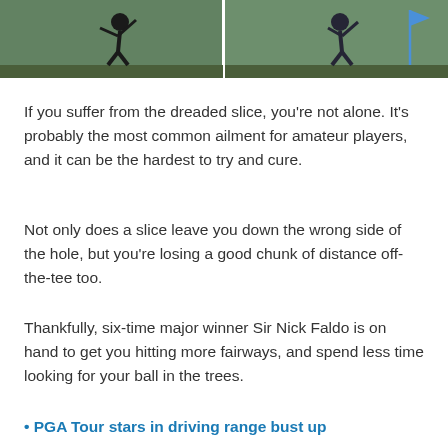[Figure (photo): Two-panel photo strip at the top showing golfer swing sequences on a green course background]
If you suffer from the dreaded slice, you're not alone. It's probably the most common ailment for amateur players, and it can be the hardest to try and cure.
Not only does a slice leave you down the wrong side of the hole, but you're losing a good chunk of distance off-the-tee too.
Thankfully, six-time major winner Sir Nick Faldo is on hand to get you hitting more fairways, and spend less time looking for your ball in the trees.
PGA Tour stars in driving range bust up